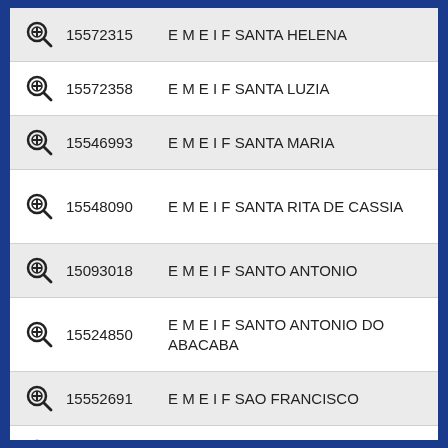15572315  E M E I F SANTA HELENA
15572358  E M E I F SANTA LUZIA
15546993  E M E I F SANTA MARIA
15548090  E M E I F SANTA RITA DE CASSIA
15093018  E M E I F SANTO ANTONIO
15524850  E M E I F SANTO ANTONIO DO ABACABA
15552691  E M E I F SAO FRANCISCO
15093690  E M E I F SAO JOSE